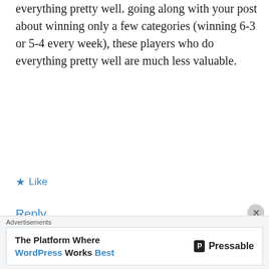everything pretty well. going along with your post about winning only a few categories (winning 6-3 or 5-4 every week), these players who do everything pretty well are much less valuable.
★ Like
Reply
[Figure (illustration): Gravatar avatar with teal/white geometric quilt-like pattern]
steveO
January 16, 2008 at 9:13 PM
the phoenix “big three” produce more numbers across all yahoo stat categories (
Advertisements
The Platform Where WordPress Works Best
Pressable